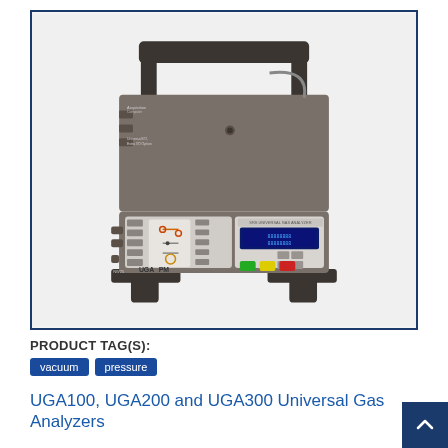[Figure (photo): UGA Universal Gas Analyzer instrument — a grey rectangular benchtop device with a handle/frame on top, control panel with buttons and display on the front lower section, ports on the left side, and a blue LCD display on the right panel. The unit sits on black metal stand feet.]
PRODUCT TAG(S):
vacuum
pressure
UGA100, UGA200 and UGA300 Universal Gas Analyzers